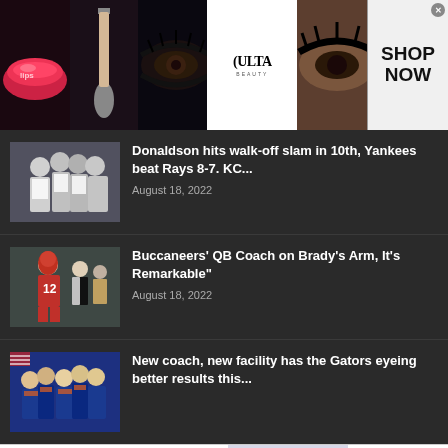[Figure (photo): Top banner advertisement for ULTA Beauty showing makeup/beauty images with 'SHOP NOW' button]
[Figure (photo): Thumbnail of baseball players (Yankees) huddled together]
Donaldson hits walk-off slam in 10th, Yankees beat Rays 8-7. KC...
August 18, 2022
[Figure (photo): Thumbnail of Buccaneers QB Tom Brady (#12) on the field]
Buccaneers' QB Coach on Brady's Arm, It's Remarkable"
August 18, 2022
[Figure (photo): Thumbnail of Florida Gators football team]
New coach, new facility has the Gators eyeing better results this...
[Figure (photo): Bottom banner advertisement for Bloomingdale's with model in hat, 'View Today's Top Deals!' and 'SHOP NOW >' button]